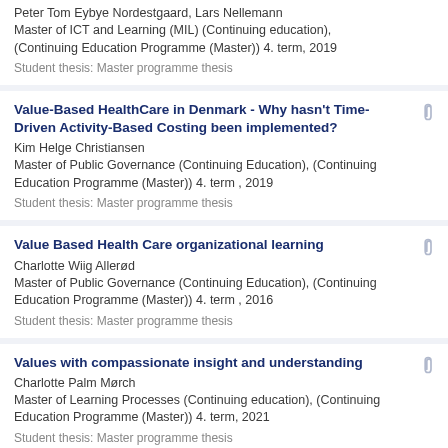Peter Tom Eybye Nordestgaard, Lars Nellemann
Master of ICT and Learning (MIL) (Continuing education), (Continuing Education Programme (Master)) 4. term, 2019
Student thesis: Master programme thesis
Value-Based HealthCare in Denmark - Why hasn't Time-Driven Activity-Based Costing been implemented?
Kim Helge Christiansen
Master of Public Governance (Continuing Education), (Continuing Education Programme (Master)) 4. term , 2019
Student thesis: Master programme thesis
Value Based Health Care organizational learning
Charlotte Wiig Allerød
Master of Public Governance (Continuing Education), (Continuing Education Programme (Master)) 4. term , 2016
Student thesis: Master programme thesis
Values with compassionate insight and understanding
Charlotte Palm Mørch
Master of Learning Processes (Continuing education), (Continuing Education Programme (Master)) 4. term, 2021
Student thesis: Master programme thesis